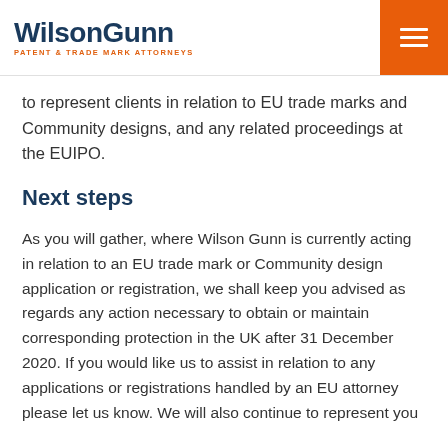WilsonGunn — PATENT & TRADE MARK ATTORNEYS
to represent clients in relation to EU trade marks and Community designs, and any related proceedings at the EUIPO.
Next steps
As you will gather, where Wilson Gunn is currently acting in relation to an EU trade mark or Community design application or registration, we shall keep you advised as regards any action necessary to obtain or maintain corresponding protection in the UK after 31 December 2020. If you would like us to assist in relation to any applications or registrations handled by an EU attorney please let us know. We will also continue to represent you